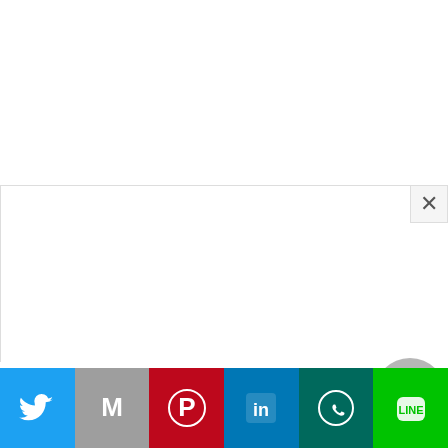[Figure (screenshot): White top area of a webpage]
[Figure (screenshot): Modal/dialog overlay panel with close (×) button in top-right corner]
« With the raging of two battles, thousands of Syrians flee out of the country
[Figure (infographic): Social share bar with six buttons: Twitter (blue bird), Gmail (M, gray), Pinterest (P, red), LinkedIn (in, dark blue), WhatsApp (phone icon, dark teal), Line (green)]